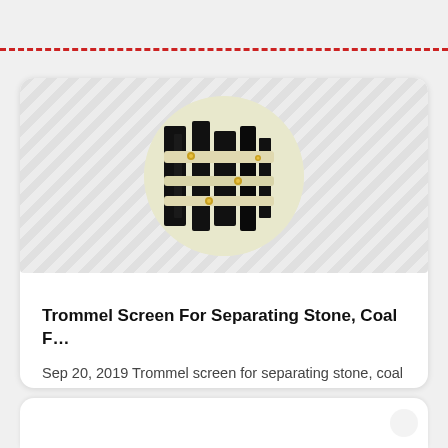[Figure (photo): Circular cropped photo of a trommel screen machine showing black metal components on a light cream/yellow background, with metal fasteners visible.]
Trommel Screen For Separating Stone, Coal F…
Sep 20, 2019 Trommel screen for separating stone, coal for sale in Philippines published date: 09-20-2019 The trommel screen controls the garbage separation by controlling the particle size, and the separation accuracy is high